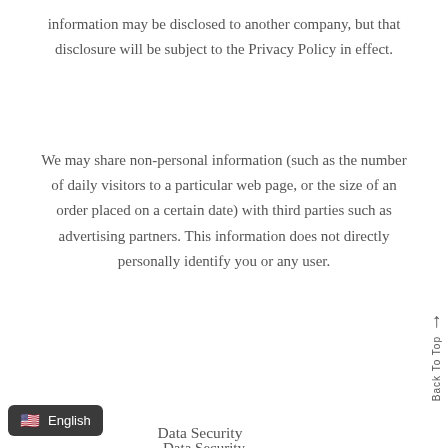information may be disclosed to another company, but that disclosure will be subject to the Privacy Policy in effect.
We may share non-personal information (such as the number of daily visitors to a particular web page, or the size of an order placed on a certain date) with third parties such as advertising partners. This information does not directly personally identify you or any user.
Data Security
We take reasonable measures, including administrative, technical, and physical safeguards, to protect information about you from loss, theft, misuse,